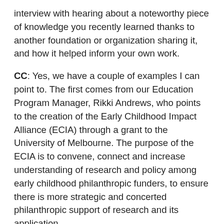interview with hearing about a noteworthy piece of knowledge you recently learned thanks to another foundation or organization sharing it, and how it helped inform your own work.
CC: Yes, we have a couple of examples I can point to. The first comes from our Education Program Manager, Rikki Andrews, who points to the creation of the Early Childhood Impact Alliance (ECIA) through a grant to the University of Melbourne. The purpose of the ECIA is to convene, connect and increase understanding of research and policy among early childhood philanthropic funders, to ensure there is more strategic and concerted philanthropic support of research and its application.
Additionally, the Foundation's Senior Program Manager, Dr. Alberto Furlan, explains, ‘We are in the process of learning from organizations we partner with all the time. In the last few years, program managers have been prioritizing extensive site visits to shortlisted applicants to discuss and see the projects in situ. In a ‘big country’ such as Australia, this takes a considerable amount of time and resources,